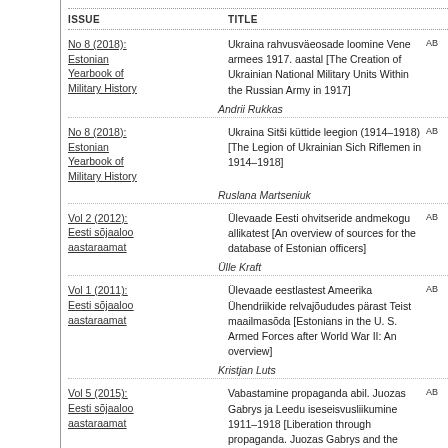ISSUE	TITLE
| ISSUE | TITLE |  |
| --- | --- | --- |
| No 8 (2018): Estonian Yearbook of Military History | Ukraina rahvusväeosade loomine Vene armees 1917. aastal [The Creation of Ukrainian National Military Units Within the Russian Army in 1917] | AB |
|  | Andrii Rukkas |  |
| No 8 (2018): Estonian Yearbook of Military History | Ukraina Sitši küttide leegion (1914–1918) [The Legion of Ukrainian Sich Riflemen in 1914–1918] | AB |
|  | Ruslana Martseniuk |  |
| Vol 2 (2012): Eesti sõjaaloo aastaraamat | Ülevaade Eesti ohvitseride andmekogu allikatest [An overview of sources for the database of Estonian officers] | AB |
|  | Ülle Kraft |  |
| Vol 1 (2011): Eesti sõjaaloo aastaraamat | Ülevaade eestlastest Ameerika Ühendriikide relvajõududes pärast Teist maailmasõda [Estonians in the U. S. Armed Forces after World War II: An overview] | AB |
|  | Kristjan Luts |  |
| Vol 5 (2015): Eesti sõjaaloo aastaraamat | Vabastamine propaganda abil. Juozas Gabrys ja Leedu iseseisvusliikumine 1911–1918 [Liberation through propaganda. Juozas Gabrys and the Lithuanian independence movement 1911–1918] | AB |